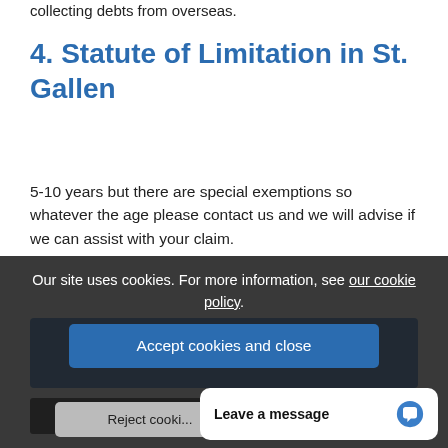collecting debts from overseas.
4. Statute of Limitation in St. Gallen
5-10 years but there are special exemptions so whatever the age please contact us and we will advise if we can assist with your claim.
[Figure (screenshot): Blue CTA banner partially visible with text 'Order Switzerland Credit Report']
Our site uses cookies. For more information, see our cookie policy.
Accept cookies and close
[Figure (screenshot): Dark banner with 'Find...' text partially visible]
Reject cooki...
Leave a message
[Figure (screenshot): Switzerland De... text partially visible behind cookie overlay]